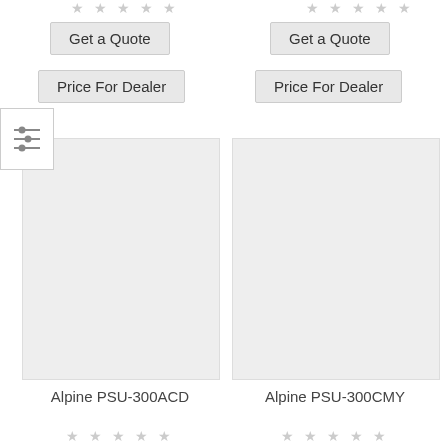[Figure (other): Five empty star rating icons for left product (top)]
[Figure (other): Five empty star rating icons for right product (top)]
Get a Quote
Get a Quote
Price For Dealer
Price For Dealer
[Figure (other): Filter/settings icon with three horizontal sliders]
[Figure (photo): Product image placeholder (light gray rectangle) for Alpine PSU-300ACD]
[Figure (photo): Product image placeholder (light gray rectangle) for Alpine PSU-300CMY]
Alpine PSU-300ACD
Alpine PSU-300CMY
[Figure (other): Five empty star rating icons for Alpine PSU-300ACD (bottom)]
[Figure (other): Five empty star rating icons for Alpine PSU-300CMY (bottom)]